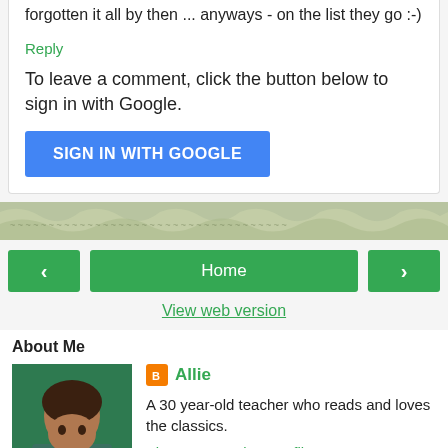forgotten it all by then ... anyways - on the list they go :-)
Reply
To leave a comment, click the button below to sign in with Google.
[Figure (other): Blue 'SIGN IN WITH GOOGLE' button]
[Figure (photo): Decorative divider banner with illustrated pattern]
[Figure (other): Navigation row with back arrow, Home button, and forward arrow]
View web version
About Me
[Figure (photo): Profile photo of Allie, a woman holding a teal book in front of her face]
Allie
A 30 year-old teacher who reads and loves the classics.
View my complete profile
Powered by Blogger.